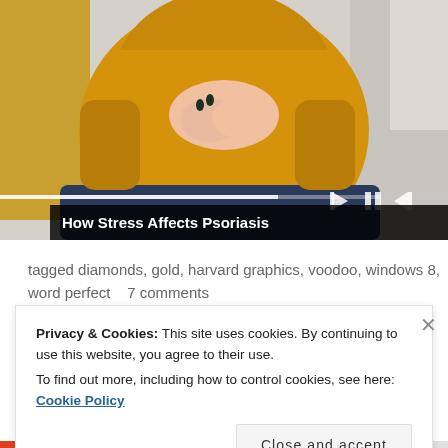[Figure (screenshot): Video player showing a woman in a yellow sweater sitting on a couch, with playback controls and progress bar. Video title overlay reads 'How Stress Affects Psoriasis'.]
How Stress Affects Psoriasis
tagged diamonds, gold, harvard graphics, voodoo, windows 8, word perfect    7 comments
Privacy & Cookies: This site uses cookies. By continuing to use this website, you agree to their use.
To find out more, including how to control cookies, see here: Cookie Policy
Close and accept